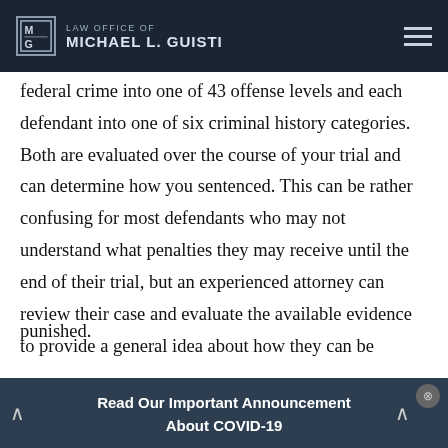LAW OFFICE OF MICHAEL L. GUISTI
federal crime into one of 43 offense levels and each defendant into one of six criminal history categories. Both are evaluated over the course of your trial and can determine how you sentenced. This can be rather confusing for most defendants who may not understand what penalties they may receive until the end of their trial, but an experienced attorney can review their case and evaluate the available evidence to provide a general idea about how they can be punished.
Read Our Important Announcement About COVID-19
Factors that can influence how you are sentenced